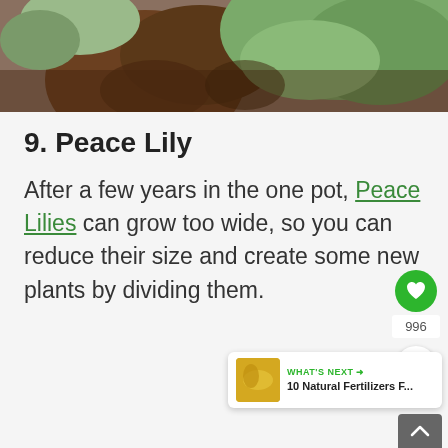[Figure (photo): Photo of succulent plants in brown pots, showing green leaves from above, cropped top portion visible]
9. Peace Lily
After a few years in the one pot, Peace Lilies can grow too wide, so you can reduce their size and create some new plants by dividing them.